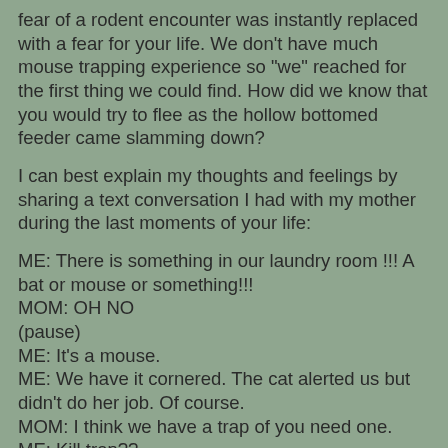fear of a rodent encounter was instantly replaced with a fear for your life.  We don't have much mouse trapping experience so "we" reached for the first thing we could find.  How did we know that you would try to flee as the hollow bottomed feeder came slamming down?
I can best explain my thoughts and feelings by sharing a text conversation I had with my mother during the last moments of your life:
ME: There is something in our laundry room !!! A bat or mouse or something!!!
MOM: OH NO
(pause)
ME: It's a mouse.
ME: We have it cornered.  The cat alerted us but didn't do her job.  Of course.
MOM: I think we have a trap of you need one.
ME: Kill trap??
MOM: I think so.  ____ gave it to us.  You definitely want to get it out of your house before it gets into your kitchen and leaves little droppings.